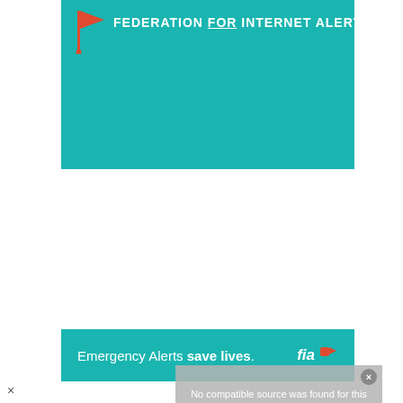[Figure (logo): Federation for Internet Alerts logo banner: teal/turquoise background with red flag icon and text 'FEDERATION FOR INTERNET ALERTS' in white uppercase letters with 'FOR' underlined]
[Figure (other): Teal banner with white text 'Emergency Alerts save lives.' with 'save lives' in bold, and FIA logo (white 'fia' text with small red flag icon) on the right side]
[Figure (screenshot): Gray overlay box with white text 'No compatible source was found for this media.' and a close button (X) in the top right corner]